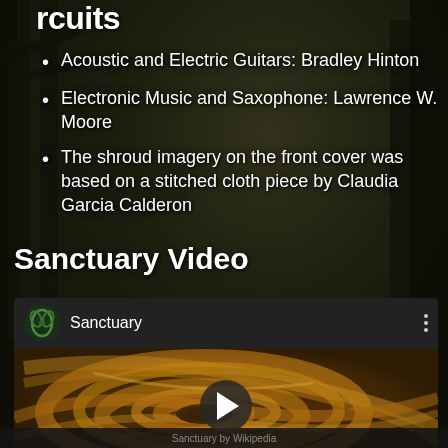circuits
Acoustic and Electric Guitars: Bradley Hinton
Electronic Music and Saxophone: Lawrence W. Moore
The shroud imagery on the front cover was based on a stitched cloth piece by Claudia Garcia Calderon
Sanctuary Video
[Figure (screenshot): Embedded video player showing a YouTube-style video titled 'Sanctuary' with a golden swirling abstract thumbnail and a play button in the center. Channel icon shows a green emblem.]
Sanctuary by Wikipedia